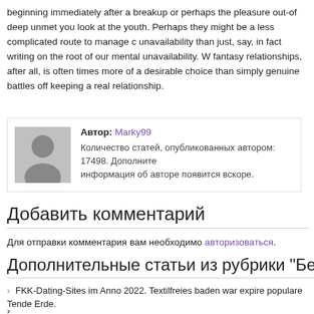beginning immediately after a breakup or perhaps the pleasure out-of deep unmet you look at the youth. Perhaps they might be a less complicated route to manage unavailability than just, say, in fact writing on the root of our mental unavailability. W fantasy relationships, after all, is often times more of a desirable choice than simply genuine battles off keeping a real relationship.
[Figure (photo): Author avatar placeholder - gray silhouette of a person]
Автор: Marky99
Количество статей, опубликованных автором: 17498. Дополнит информация об авторе появится вскоре.
Добавить комментарий
Для отправки комментария вам необходимо авторизоваться.
Дополнительные статьи из рубрики "Без рубри
FKK-Dating-Sites im Anno 2022. Textilfreies baden war expire populare Tender Erde.